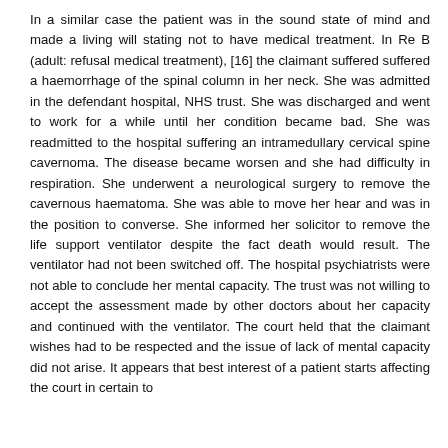In a similar case the patient was in the sound state of mind and made a living will stating not to have medical treatment. In Re B (adult: refusal medical treatment), [16] the claimant suffered suffered a haemorrhage of the spinal column in her neck. She was admitted in the defendant hospital, NHS trust. She was discharged and went to work for a while until her condition became bad. She was readmitted to the hospital suffering an intramedullary cervical spine cavernoma. The disease became worsen and she had difficulty in respiration. She underwent a neurological surgery to remove the cavernous haematoma. She was able to move her hear and was in the position to converse. She informed her solicitor to remove the life support ventilator despite the fact death would result. The ventilator had not been switched off. The hospital psychiatrists were not able to conclude her mental capacity. The trust was not willing to accept the assessment made by other doctors about her capacity and continued with the ventilator. The court held that the claimant wishes had to be respected and the issue of lack of mental capacity did not arise. It appears that best interest of a patient starts affecting the court in certain to